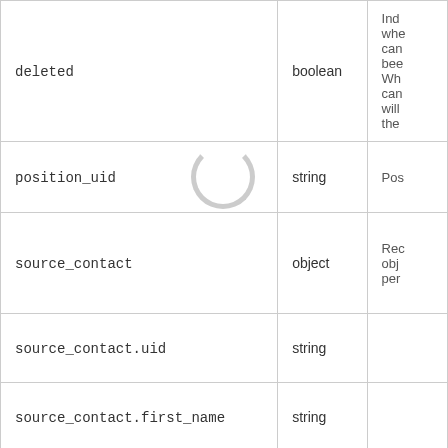| Field | Type | Description |
| --- | --- | --- |
| deleted | boolean | Ind whe can bee Wh can will the |
| position_uid | string | Pos |
| source_contact | object | Rec obj per |
| source_contact.uid | string |  |
| source_contact.first_name | string |  |
| source_contact.last_name | string |  |
| source_contact.email | string |  |
|  |  |  |